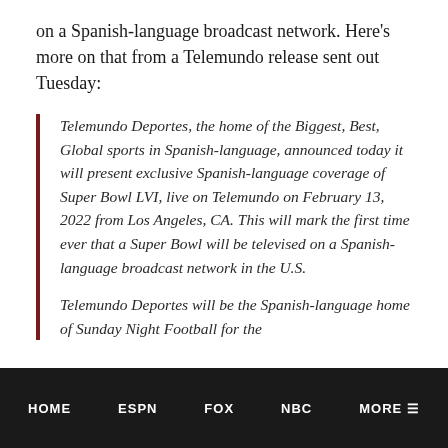on a Spanish-language broadcast network. Here's more on that from a Telemundo release sent out Tuesday:
Telemundo Deportes, the home of the Biggest, Best, Global sports in Spanish-language, announced today it will present exclusive Spanish-language coverage of Super Bowl LVI, live on Telemundo on February 13, 2022 from Los Angeles, CA. This will mark the first time ever that a Super Bowl will be televised on a Spanish-language broadcast network in the U.S.

Telemundo Deportes will be the Spanish-language home of Sunday Night Football for the
HOME   ESPN   FOX   NBC   MORE